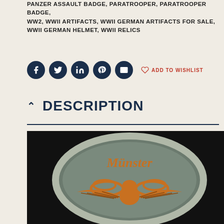PANZER ASSAULT BADGE, PARATROOPER, PARATROOPER BADGE, WW2, WWII ARTIFACTS, WWII GERMAN ARTIFACTS FOR SALE, WWII GERMAN HELMET, WWII RELICS
[Figure (other): Social media share buttons: Facebook, Twitter, LinkedIn, Pinterest, Email icons in dark navy circles, followed by heart icon and ADD TO WISHLIST text in red]
DESCRIPTION
[Figure (photo): Photograph of a circular embroidered military badge with text 'Münster' in orange gothic script at top, orange eagle/wreath insignia below, on grey-blue fabric background. A ruler/color control patch is visible on the right edge.]